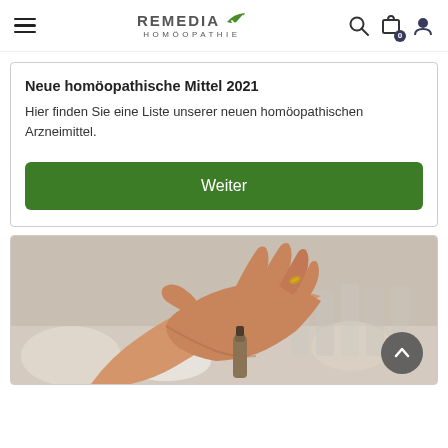REMEDIA HOMÖOPATHIE
Neue homöopathische Mittel 2021
Hier finden Sie eine Liste unserer neuen homöopathischen Arzneimittel.
Weiter
[Figure (photo): A hand holding a small homeopathic remedy bottle, with white capsules/bottles blurred in the background on a light surface.]